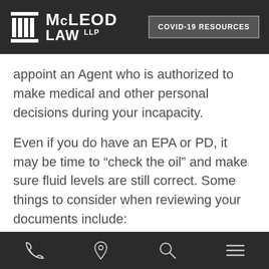McLeod Law LLP | COVID-19 RESOURCES
appoint an Agent who is authorized to make medical and other personal decisions during your incapacity.
Even if you do have an EPA or PD, it may be time to “check the oil” and make sure fluid levels are still correct. Some things to consider when reviewing your documents include:
[phone] [location] [search] [menu]